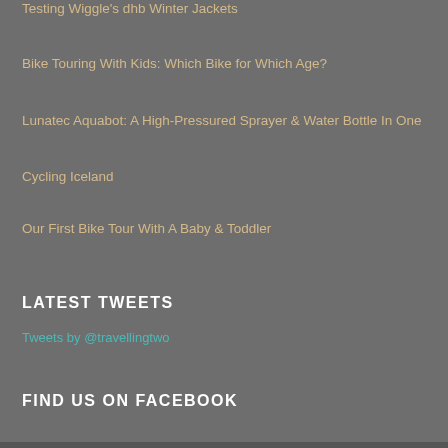Testing Wiggle's dhb Winter Jackets
Bike Touring With Kids: Which Bike for Which Age?
Lunatec Aquabot: A High-Pressured Sprayer & Water Bottle In One
Cycling Iceland
Our First Bike Tour With A Baby & Toddler
LATEST TWEETS
Tweets by @travellingtwo
FIND US ON FACEBOOK